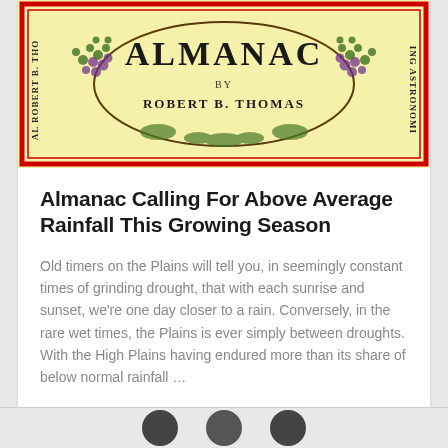[Figure (illustration): Cover of an almanac publication with decorative border, text reading 'ALMANAC by ROBERT B. THOMAS' with floral and grape vine decorations on a yellow background with red border]
Almanac Calling For Above Average Rainfall This Growing Season
Old timers on the Plains will tell you, in seemingly constant times of grinding drought, that with each sunrise and sunset, we're one day closer to a rain. Conversely, in the rare wet times, the Plains is ever simply between droughts. With the High Plains having endured more than its share of below normal rainfall …
SEE THE STORY →